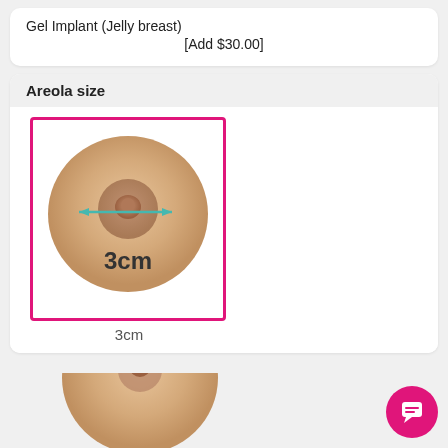Gel Implant (Jelly breast)
[Add $30.00]
Areola size
[Figure (illustration): A rounded breast form with a circular areola shown with a teal double-headed arrow indicating 3cm measurement, label '3cm' in the center, inside a pink-bordered selection box]
3cm
[Figure (illustration): Partial view of a second breast form option at the bottom of the page]
[Figure (other): Pink circular chat/message button in bottom right corner]